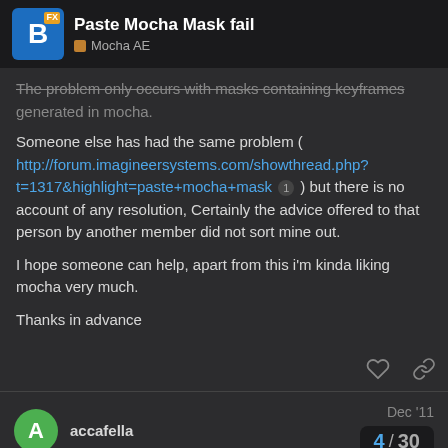Paste Mocha Mask fail — Mocha AE
The problem only occurs with masks containing keyframes generated in mocha.

Someone else has had the same problem ( http://forum.imagineersystems.com/showthread.php?t=1317&highlight=paste+mocha+mask 1 ) but there is no account of any resolution, Certainly the advice offered to that person by another member did not sort mine out.

I hope someone can help, apart from this i'm kinda liking mocha very much.

Thanks in advance
accafella Dec '11
Sorry, i forgot to mention that this is mocha